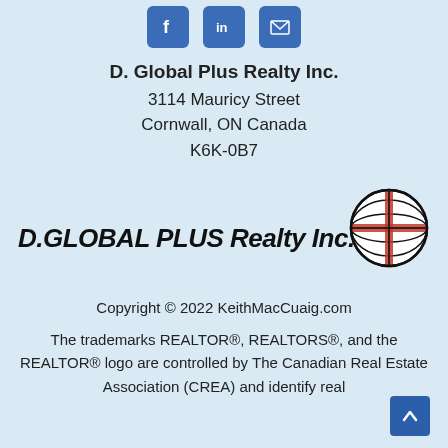[Figure (other): Three social media icon buttons: Facebook (f), LinkedIn (in), and email (envelope), styled as blue rounded squares]
D. Global Plus Realty Inc.
3114 Mauricy Street
Cornwall, ON Canada
K6K-0B7
[Figure (logo): D.GLOBAL PLUS Realty Inc. logo with italic bold text and a globe icon with red cross on the right side]
Copyright © 2022 KeithMacCuaig.com
The trademarks REALTOR®, REALTORS®, and the REALTOR® logo are controlled by The Canadian Real Estate Association (CREA) and identify real